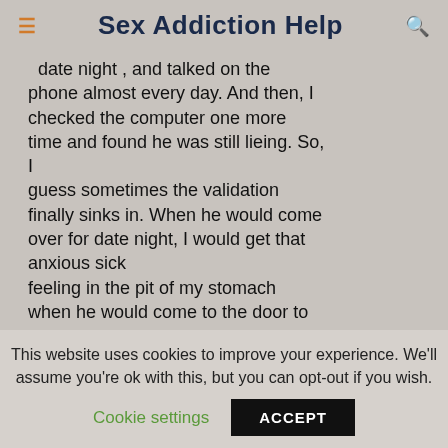Sex Addiction Help
date night, and talked on the phone almost every day. And then, I checked the computer one more time and found he was still lieing. So, I
guess sometimes the validation finally sinks in. When he would come over for date night, I would get that anxious sick feeling in the pit of my stomach when he would come to the door to
This website uses cookies to improve your experience. We'll assume you're ok with this, but you can opt-out if you wish.
Cookie settings   ACCEPT